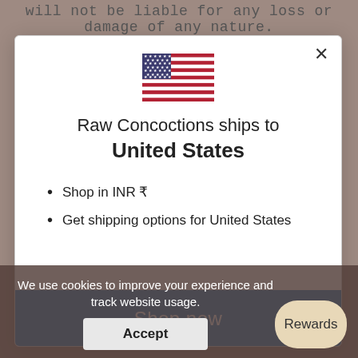will not be liable for any loss or damage of any nature.
[Figure (illustration): US flag emoji/icon]
Raw Concoctions ships to United States
Shop in INR ₹
Get shipping options for United States
Shop now
We use cookies to improve your experience and track website usage.
Accept
Rewards